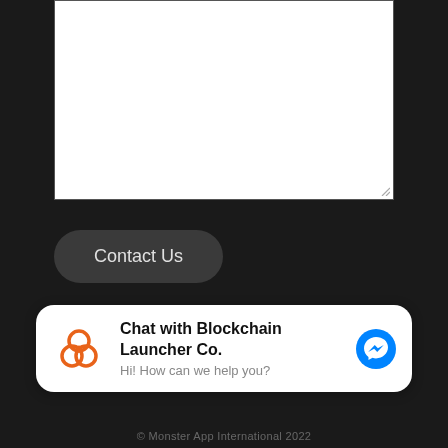[Figure (screenshot): White textarea input box with resize handle in bottom-right corner, on dark background]
[Figure (screenshot): Dark rounded 'Contact Us' button]
[Figure (infographic): Chat popup overlay: Blockchain Launcher Co. logo on left, bold title 'Chat with Blockchain Launcher Co.', subtitle 'Hi! How can we help you?', and Facebook Messenger icon on right]
© Monster App International 2022